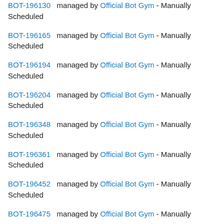BOT-196130 managed by Official Bot Gym - Manually Scheduled
BOT-196165 managed by Official Bot Gym - Manually Scheduled
BOT-196194 managed by Official Bot Gym - Manually Scheduled
BOT-196204 managed by Official Bot Gym - Manually Scheduled
BOT-196348 managed by Official Bot Gym - Manually Scheduled
BOT-196361 managed by Official Bot Gym - Manually Scheduled
BOT-196452 managed by Official Bot Gym - Manually Scheduled
BOT-196475 managed by Official Bot Gym - Manually